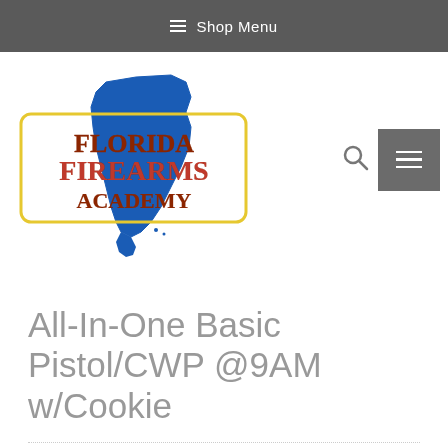≡ Shop Menu
[Figure (logo): Florida Firearms Academy logo with blue Florida state silhouette and red/brown text reading Florida Firearms Academy inside a yellow rounded rectangle border]
All-In-One Basic Pistol/CWP @9AM w/Cookie